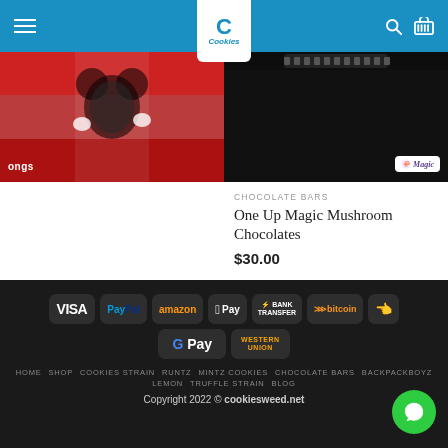Cookies navigation bar with logo, search and cart icons
[Figure (screenshot): Product image left - One Up DO-SI-DOS chocolate bar with red background and cartoon figure]
CHOCOLATE BARS
One Up DO-SI-DOS
$39.00 $30.00
[Figure (screenshot): Product image right - One Up Magic Mushroom Chocolates with dark background and Magic Mushroom badge]
CHOCOLATE BARS
One Up Magic Mushroom Chocolates
$30.00
[Figure (infographic): Payment methods footer: VISA, PayPal, amazon, Apple Pay, BANK TRANSFER, bitcoin, hand icon, G Pay, WESTERN UNION]
HOME   SHOP   COOKIES STRAIN   RUNTZ   MINTZ COOKIES   CHOCOLATE BARS   BACKPACKBOYZ   LEMON   TRUFFLE STRAIN   BLOG
Copyright 2022 © cookiesweed.net